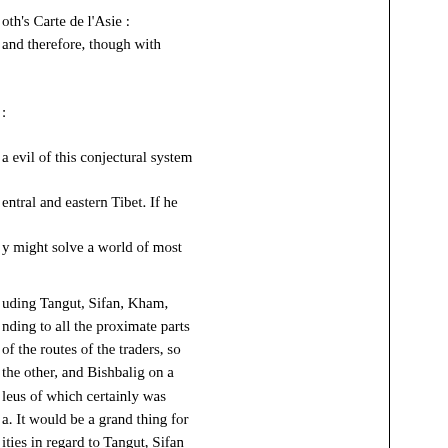oth's Carte de l'Asie : and therefore, though with : a evil of this conjectural system entral and eastern Tibet. If he y might solve a world of most uding Tangut, Sifan, Kham, nding to all the proximate parts of the routes of the traders, so the other, and Bishbalig on a leus of which certainly was a. It would be a grand thing for ities in regard to Tangut, Sifan Bucharia and Mongolia ; and ring on the east to the a, as Belut does the western ; rming between these Chinese